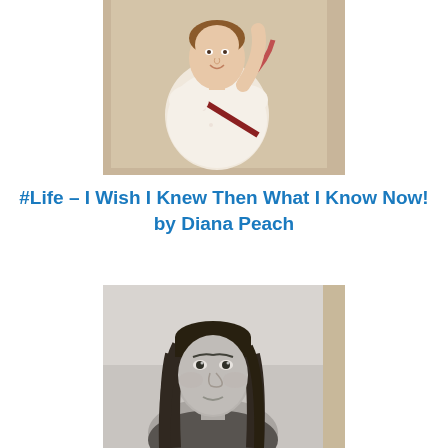[Figure (photo): Color photograph of a young woman smiling, wearing a white floral short-sleeve top and holding a red/burgundy strap across her chest. She is partially cropped at the top. Photo has a tan/beige border/mat.]
#Life – I Wish I Knew Then What I Know Now! by Diana Peach
[Figure (photo): Black and white school portrait photograph of a young girl with long dark straight hair, looking slightly toward the camera with a subtle smile. Photo has a white/light border.]